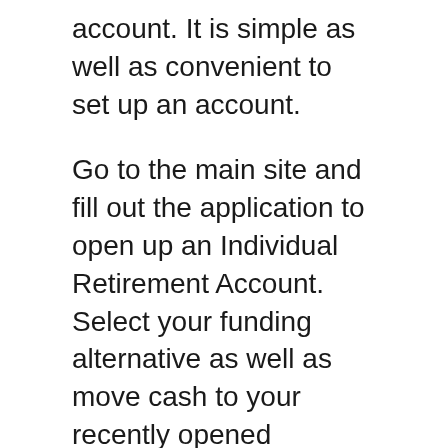account. It is simple as well as convenient to set up an account.
Go to the main site and fill out the application to open up an Individual Retirement Account. Select your funding alternative as well as move cash to your recently opened account. As soon as the firm confirms invoice of funds, you can currently pick the pieces of silver or gold you intend to add to your account.
Goldco gives various gold coins as well as bars for your precious metals IRA. These coins and also bars comply with the requirements of the Internal Revenue Service, which is 99.5% pure. You can pick the adhering to gold items to contribute to